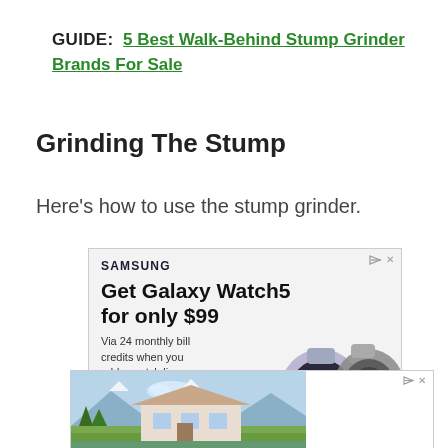GUIDE:  5 Best Walk-Behind Stump Grinder Brands For Sale
Grinding The Stump
Here's how to use the stump grinder.
[Figure (other): Samsung advertisement: Get Galaxy Watch5 for only $99. Via 24 monthly bill credits when you add a watch line.]
[Figure (photo): Advertisement showing a luxury mountain house with scenic mountain backdrop.]